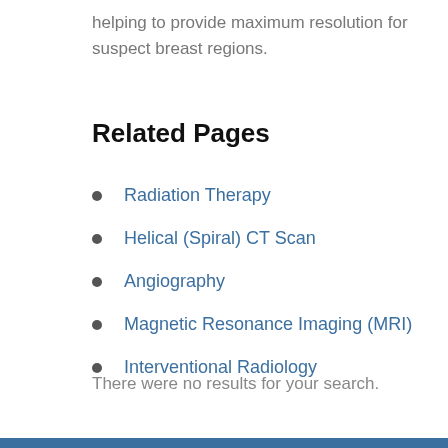helping to provide maximum resolution for suspect breast regions.
Related Pages
Radiation Therapy
Helical (Spiral) CT Scan
Angiography
Magnetic Resonance Imaging (MRI)
Interventional Radiology
There were no results for your search.